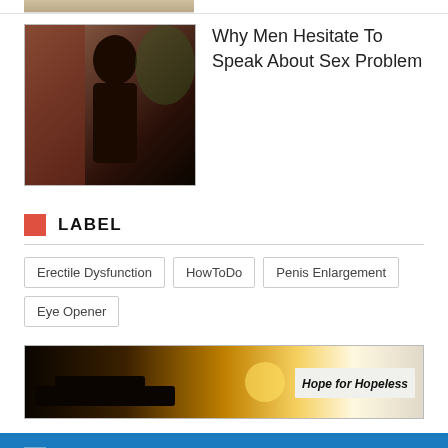[Figure (photo): Partial top strip of an image, cropped]
[Figure (photo): Person in black clothing against a brick wall background]
Why Men Hesitate To Speak About Sex Problem
LABEL
Erectile Dysfunction
HowToDo
Penis Enlargement
Eye Opener
[Figure (photo): Sunset/sunrise landscape banner with text 'Hope for Hopeless']
IMPORTANT LINKS
Homeopathic Sexologist in Kolkata